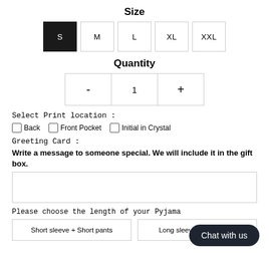Size
S  M  L  XL  XXL (size selector buttons, S selected)
Quantity
- 1 + (quantity selector)
Select Print location :
Back
Front Pocket
Initial in Crystal
Greeting Card :
Write a message to someone special. We will include it in the gift box.
(text input area)
Please choose the length of your Pyjama
Short sleeve + Short pants
Long sleeve + long pants
Chat with us